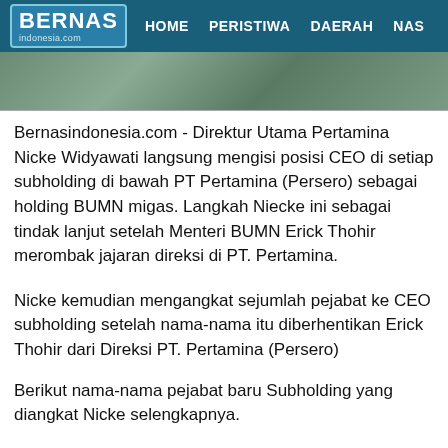BERNAS indonesia.com  HOME  PERISTIWA  DAERAH  NAS
[Figure (photo): Cropped photograph strip, partially visible at top of content area]
Bernasindonesia.com - Direktur Utama Pertamina Nicke Widyawati langsung mengisi posisi CEO di setiap subholding di bawah PT Pertamina (Persero) sebagai holding BUMN migas. Langkah Niecke ini sebagai tindak lanjut setelah Menteri BUMN Erick Thohir merombak jajaran direksi di PT. Pertamina.
Nicke kemudian mengangkat sejumlah pejabat ke CEO subholding setelah nama-nama itu diberhentikan Erick Thohir dari Direksi PT. Pertamina (Persero)
Berikut nama-nama pejabat baru Subholding yang diangkat Nicke selengkapnya.
Subholding Hulu